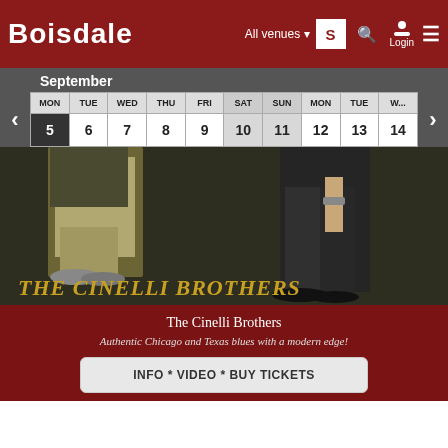BOISDALE | All venues | Login
September
| MON | TUE | WED | THU | FRI | SAT | SUN | MON | TUE | WED |
| --- | --- | --- | --- | --- | --- | --- | --- | --- | --- |
| 5 | 6 | 7 | 8 | 9 | 10 | 11 | 12 | 13 | 14 |
[Figure (photo): Two men's lower bodies in casual clothing against a dark background with gold text 'THE CINELLI BROTHERS']
The Cinelli Brothers
Authentic Chicago and Texas blues with a modern edge!
INFO * VIDEO * BUY TICKETS